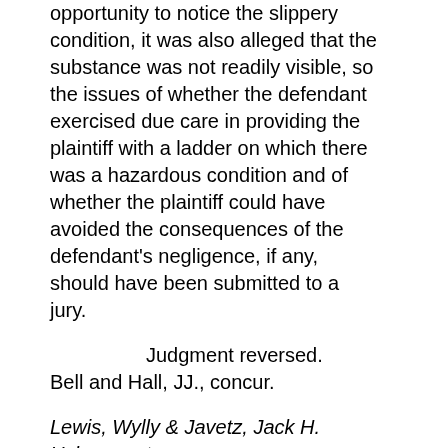opportunity to notice the slippery condition, it was also alleged that the substance was not readily visible, so the issues of whether the defendant exercised due care in providing the plaintiff with a ladder on which there was a hazardous condition and of whether the plaintiff could have avoided the consequences of the defendant's negligence, if any, should have been submitted to a jury.
Judgment reversed. Bell and Hall, JJ., concur.
Lewis, Wylly & Javetz, Jack H. Usher, contra. Charlton E. Clark, for plaintiff in error.
DECIDED MAY 11, 1962.